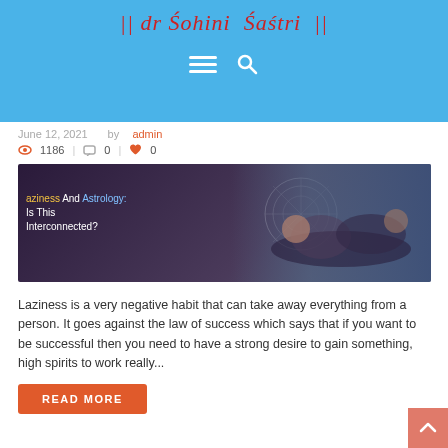|| dr Sohini Sastri ||
June 12, 2021  by admin
1186  | 0 | 0
[Figure (photo): Blog featured image: Laziness And Astrology: Is This Interconnected? — shows two people sleeping at a desk with zodiac wheel overlay]
Laziness is a very negative habit that can take away everything from a person. It goes against the law of success which says that if you want to be successful then you need to have a strong desire to gain something, high spirits to work really...
READ MORE